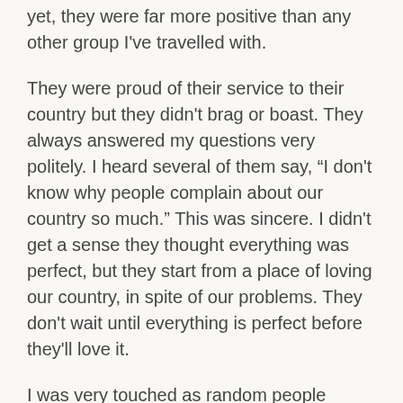yet, they were far more positive than any other group I've travelled with.
They were proud of their service to their country but they didn't brag or boast. They always answered my questions very politely. I heard several of them say, “I don't know why people complain about our country so much.” This was sincere. I didn't get a sense they thought everything was perfect, but they start from a place of loving our country, in spite of our problems. They don't wait until everything is perfect before they'll love it.
I was very touched as random people throughout the trip stopped to applaud the veterans as we moved around the city, many shouting, “Thank you for your service,” or